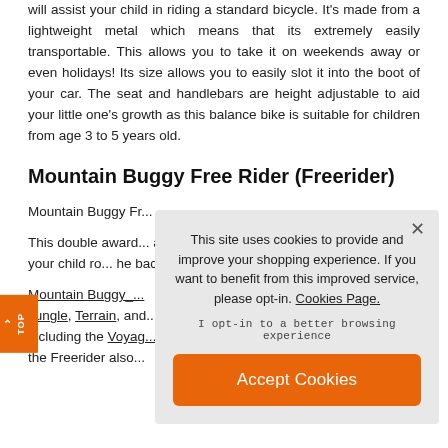will assist your child in riding a standard bicycle. It's made from a lightweight metal which means that its extremely easily transportable. This allows you to take it on weekends away or even holidays! Its size allows you to easily slot it into the boot of your car. The seat and handlebars are height adjustable to aid your little one's growth as this balance bike is suitable for children from age 3 to 5 years old.
Mountain Buggy Free Rider (Freerider)
Mountain Buggy Fr...
This double award...also a stroller board...gies, the Mountain Buggy...ng your child ro...he back of the...functionality,...Mountain Buggy_...Jungle, Terrain, and...including the Voyage...the Freerider also...
[Figure (screenshot): Cookie consent overlay popup with text 'This site uses cookies to provide and improve your shopping experience. If you want to benefit from this improved service, please opt-in. Cookies Page.' and an 'Accept Cookies' orange button.]